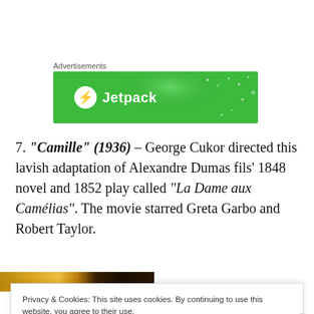Advertisements
[Figure (other): Green Jetpack advertisement banner with logo and wordmark]
7. "Camille" (1936) – George Cukor directed this lavish adaptation of Alexandre Dumas fils' 1848 novel and 1852 play called "La Dame aux Camélias". The movie starred Greta Garbo and Robert Taylor.
[Figure (photo): Partial view of a movie still photo, golden and dark tones]
Privacy & Cookies: This site uses cookies. By continuing to use this website, you agree to their use.
To find out more, including how to control cookies, see here: Cookie Policy
Close and accept